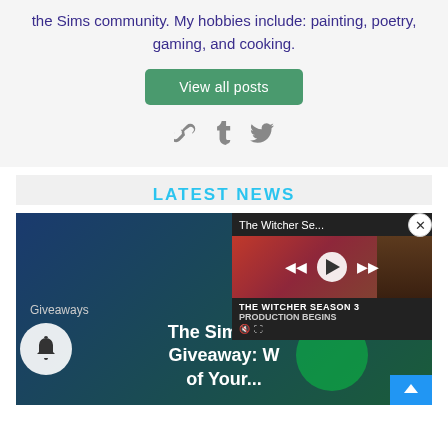the Sims community. My hobbies include: painting, poetry, gaming, and cooking.
View all posts
[Figure (infographic): Social media icons: chain link, Tumblr, Twitter]
LATEST NEWS
[Figure (screenshot): News card: Giveaways, The Sims 4 A... Giveaway: W... of Your... with a video popup overlay for The Witcher Season 3 Production Begins, with media controls, close button, bell button, and up arrow button]